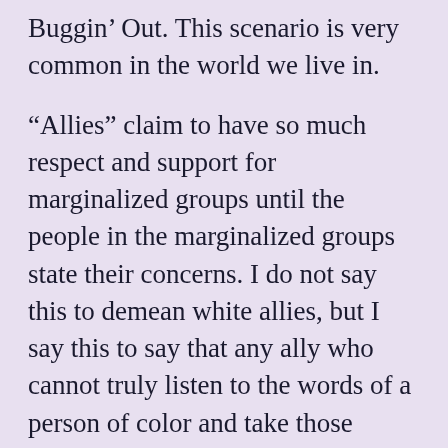Buggin' Out. This scenario is very common in the world we live in.
“Allies” claim to have so much respect and support for marginalized groups until the people in the marginalized groups state their concerns. I do not say this to demean white allies, but I say this to say that any ally who cannot truly listen to the words of a person of color and take those words as they are is not a true ally. Choosing to ignore the cries of marginalized peoples and claiming to be in support of them is the epitome of impiety. Those who do so show that their cluelessness becomes further entrenched in their...